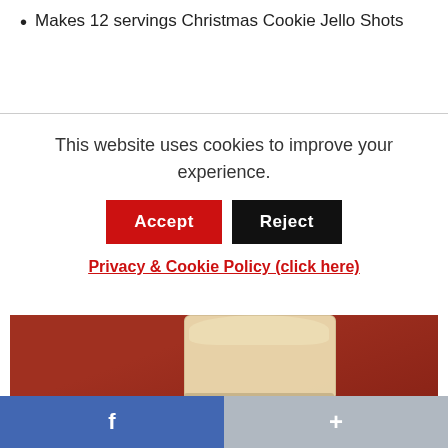Makes 12 servings Christmas Cookie Jello Shots
This website uses cookies to improve your experience.
Accept   Reject
Privacy & Cookie Policy (click here)
[Figure (photo): Stacked clear plastic cups filled with creamy jello shots topped with whipped cream and green sprinkles, on a red background. Text overlay reads 'Christmas Cookie Jello Shots']
f   +